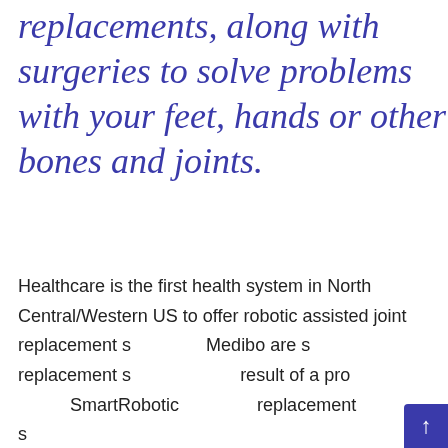replacements, along with surgeries to solve problems with your feet, hands or other bones and joints.
Healthcare is the first health system in North Central/Western US to offer robotic assisted joint replacement s... Medibo are s... replacement s... result of a pro... SmartRobotic... replacement s...
[Figure (other): A review card popup with a purple/pink border showing a 5-star review by Brenda Bell: 'Dr. Lee is truly the best!!! Besides being the very best breast surgeon, she is very caring, friendly,...'. Powered by Repuso. Navigation arrows on left and right. Orange BB avatar.]